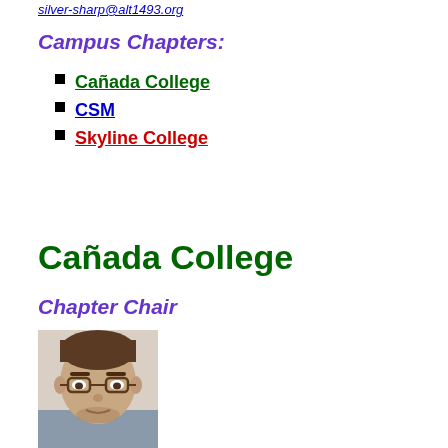silver-sharp@alt1493.org
Campus Chapters:
Cañada College
CSM
Skyline College
Cañada College
Chapter Chair
[Figure (photo): Photo of a man with brown hair and glasses, wearing a collared shirt, partial view]